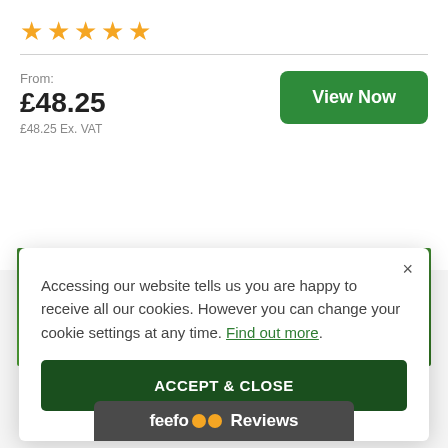[Figure (other): Five yellow star rating icons]
From:
£48.25
£48.25 Ex. VAT
View Now
[Figure (photo): Green grass background with a white envelope containing handwritten text]
Accessing our website tells us you are happy to receive all our cookies. However you can change your cookie settings at any time. Find out more.
ACCEPT & CLOSE
feefo Reviews